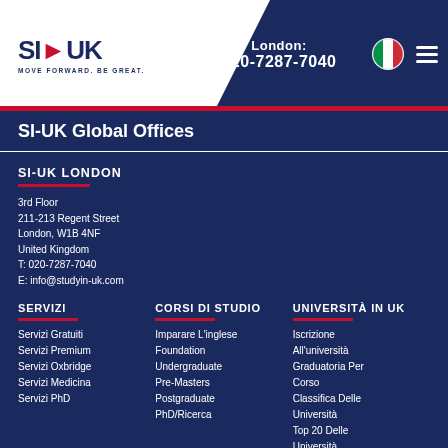London: 020-7287-7040
SI-UK Global Offices
SI-UK LONDON
3rd Floor
211-213 Regent Street
London, W1B 4NF
United Kingdom
T: 020-7287-7040
E: info@studyin-uk.com
SERVIZI
Servizi Gratuiti
Servizi Premium
Servizi Oxbridge
Servizi Medicina
Servizi PhD
CORSI DI STUDIO
Imparare L'inglese
Foundation
Undergraduate
Pre-Masters
Postgraduate
PhD/Ricerca
UNIVERSITÀ IN UK
Iscrizione All'università
Graduatoria Per Corso
Classifica Delle Università
Top 20 Delle Università
Elenco Delle...